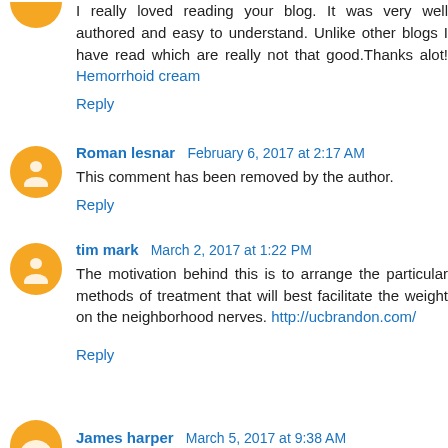I really loved reading your blog. It was very well authored and easy to understand. Unlike other blogs I have read which are really not that good.Thanks alot! Hemorrhoid cream
Reply
Roman lesnar  February 6, 2017 at 2:17 AM
This comment has been removed by the author.
Reply
tim mark  March 2, 2017 at 1:22 PM
The motivation behind this is to arrange the particular methods of treatment that will best facilitate the weight on the neighborhood nerves. http://ucbrandon.com/
Reply
James harper  March 5, 2017 at 9:38 AM